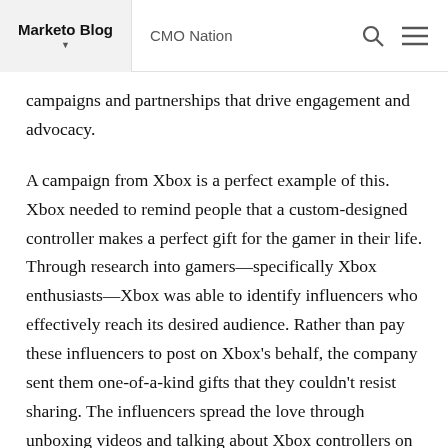Marketo Blog    CMO Nation
campaigns and partnerships that drive engagement and advocacy.
A campaign from Xbox is a perfect example of this. Xbox needed to remind people that a custom-designed controller makes a perfect gift for the gamer in their life. Through research into gamers—specifically Xbox enthusiasts—Xbox was able to identify influencers who effectively reach its desired audience. Rather than pay these influencers to post on Xbox's behalf, the company sent them one-of-a-kind gifts that they couldn't resist sharing. The influencers spread the love through unboxing videos and talking about Xbox controllers on YouTube, Twitter, and Instagram, which reached millions.